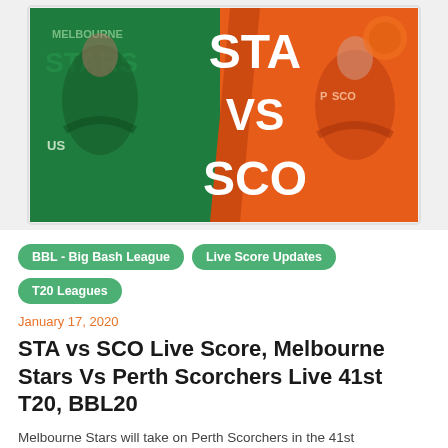[Figure (photo): Split promotional image showing Melbourne Stars player in green kit on the left and Perth Scorchers player in orange kit on the right, with 'STA VS SCO' text overlaid in white on a half-green half-orange background]
BBL - Big Bash League
Live Score Updates
T20 Leagues
January 17, 2020
STA vs SCO Live Score, Melbourne Stars Vs Perth Scorchers Live 41st T20, BBL20
Melbourne Stars will take on Perth Scorchers in the 41st